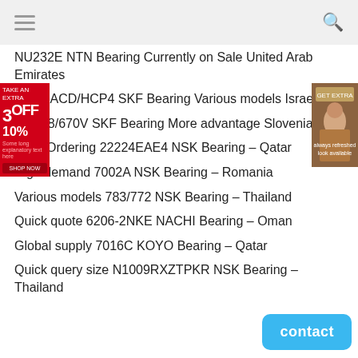NU232E NTN Bearing Currently on Sale United Arab Emirates
71808ACD/HCP4 SKF Bearing Various models Israel
NCF18/670V SKF Bearing More advantage Slovenia
Easy Ordering 22224EAE4 NSK Bearing – Qatar
High demand 7002A NSK Bearing – Romania
Various models 783/772 NSK Bearing – Thailand
Quick quote 6206-2NKE NACHI Bearing – Oman
Global supply 7016C KOYO Bearing – Qatar
Quick query size N1009RXZTPKR NSK Bearing – Thailand